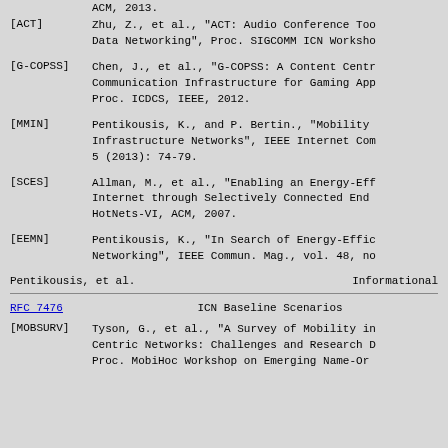ACM, 2013.
[ACT]    Zhu, Z., et al., "ACT: Audio Conference Too Data Networking", Proc. SIGCOMM ICN Worksho
[G-COPSS]    Chen, J., et al., "G-COPSS: A Content Centr Communication Infrastructure for Gaming App Proc. ICDCS, IEEE, 2012.
[MMIN]    Pentikousis, K., and P. Bertin., "Mobility Infrastructure Networks", IEEE Internet Com 5 (2013): 74-79.
[SCES]    Allman, M., et al., "Enabling an Energy-Eff Internet through Selectively Connected End HotNets-VI, ACM, 2007.
[EEMN]    Pentikousis, K., "In Search of Energy-Effic Networking", IEEE Commun. Mag., vol. 48, no
Pentikousis, et al.          Informational
RFC 7476                    ICN Baseline Scenarios
[MOBSURV]    Tyson, G., et al., "A Survey of Mobility in Centric Networks: Challenges and Research D Proc. MobiHoc Workshop on Emerging Name-Or